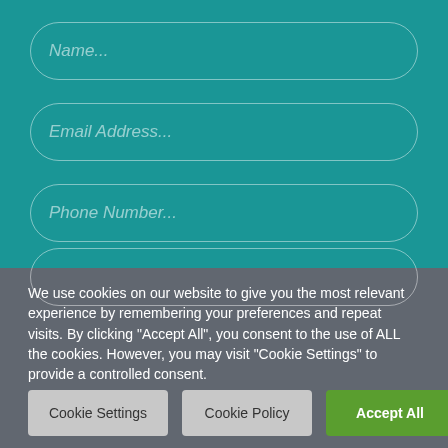[Figure (screenshot): Teal background form section with three visible rounded input fields labeled Name..., Email Address..., Phone Number..., and a partial fourth field at the bottom]
We use cookies on our website to give you the most relevant experience by remembering your preferences and repeat visits. By clicking “Accept All”, you consent to the use of ALL the cookies. However, you may visit "Cookie Settings" to provide a controlled consent.
Cookie Settings
Cookie Policy
Accept All